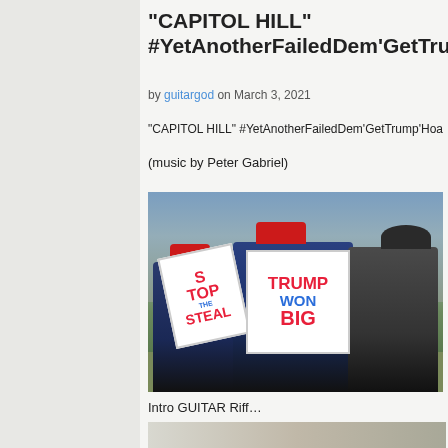“CAPITOL HILL” #YetAnotherFailedDem’GetTru…
by guitargod on March 3, 2021
“CAPITOL HILL” #YetAnotherFailedDem’GetTrump’Hoa…
(music by Peter Gabriel)
[Figure (photo): Protesters at what appears to be a political rally on a grassy area, holding signs reading 'STOP THE STEAL' and 'TRUMP WON BIG', wearing red MAGA hats, with a crowd and flags in the background.]
Intro GUITAR Riff…
[Figure (photo): Partial image showing what appears to be Washington DC landmarks with flags, bottom of page cropped.]